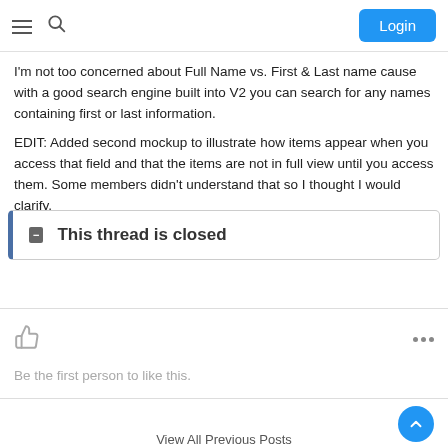Login
I'm not too concerned about Full Name vs. First & Last name cause with a good search engine built into V2 you can search for any names containing first or last information.
EDIT: Added second mockup to illustrate how items appear when you access that field and that the items are not in full view until you access them. Some members didn't understand that so I thought I would clarify.
This thread is closed
Be the first person to like this.
View All Previous Posts